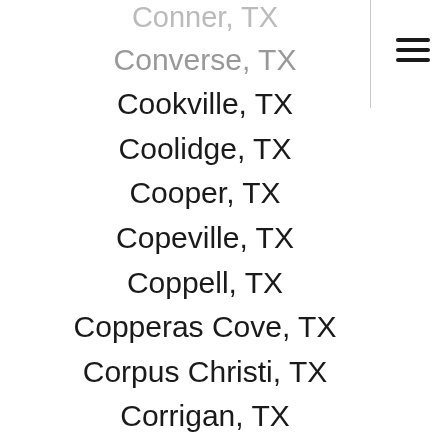Conroe, TX
Conner, TX
Converse, TX
Cookville, TX
Coolidge, TX
Cooper, TX
Copeville, TX
Coppell, TX
Copperas Cove, TX
Corpus Christi, TX
Corrigan, TX
Corsicana, TX
Cost, TX
Cotton Center, TX
Cotulla, TX
Coupland, TX
Covington, TX